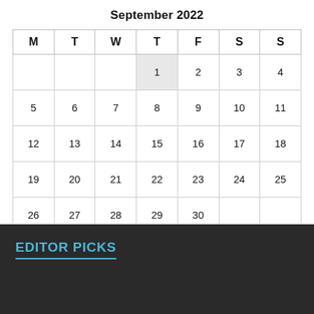September 2022
| M | T | W | T | F | S | S |
| --- | --- | --- | --- | --- | --- | --- |
|  |  |  | 1 | 2 | 3 | 4 |
| 5 | 6 | 7 | 8 | 9 | 10 | 11 |
| 12 | 13 | 14 | 15 | 16 | 17 | 18 |
| 19 | 20 | 21 | 22 | 23 | 24 | 25 |
| 26 | 27 | 28 | 29 | 30 |  |  |
« Nov
EDITOR PICKS